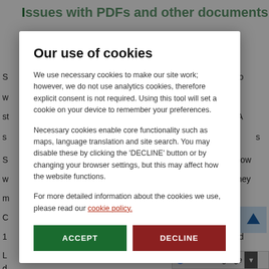Issues with PDFs and other documents
Screen readers are not able to comply with...
...the PDF/A standard...
...for details how...
...to ensure they meet (Non-text Content - Minimum), 1.4.6 (Headings and Labels)...might exclude...018, where...
Contents
...WCAG...
3.1 AA Success Criterion 1.4.3: Contra...
[Figure (screenshot): Cookie consent modal dialog overlay on a government website. Title: 'Our use of cookies'. Body text explains necessary cookies usage, analytics cookies, and browser settings. Contains Accept (green) and Decline (dark red) buttons. Background shows partial green-text page content about PDFs and documents with WCAG references.]